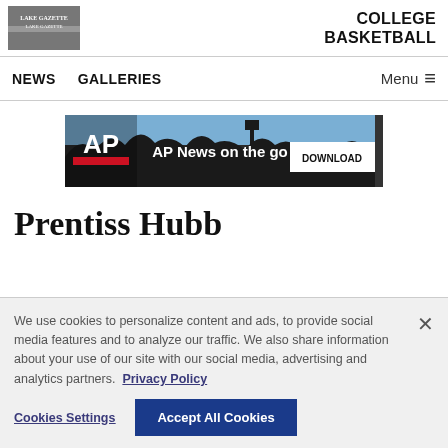Lake Gazette | COLLEGE BASKETBALL
NEWS   GALLERIES   Menu
[Figure (screenshot): AP News on the go advertisement banner with silhouetted journalists and a DOWNLOAD button]
Prentiss Hubb
We use cookies to personalize content and ads, to provide social media features and to analyze our traffic. We also share information about your use of our site with our social media, advertising and analytics partners. Privacy Policy
Cookies Settings   Accept All Cookies